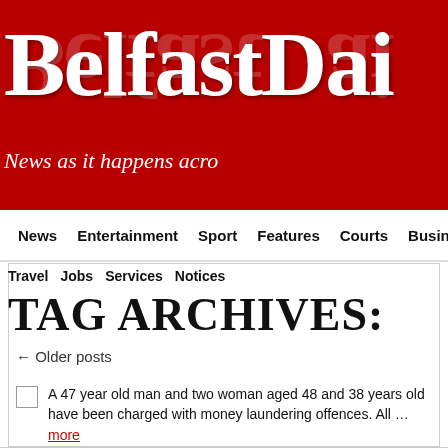[Figure (logo): Belfast Daily newspaper logo banner — red background with large white bold serif text 'BelfastDai' (truncated) and italic tagline 'News as it happens acr' (truncated), with a reflection effect]
News | Entertainment | Sport | Features | Courts | Business
Travel | Jobs | Services | Notices
TAG ARCHIVES:
← Older posts
A 47 year old man and two woman aged 48 and 38 years old have been charged with money laundering offences. All … more